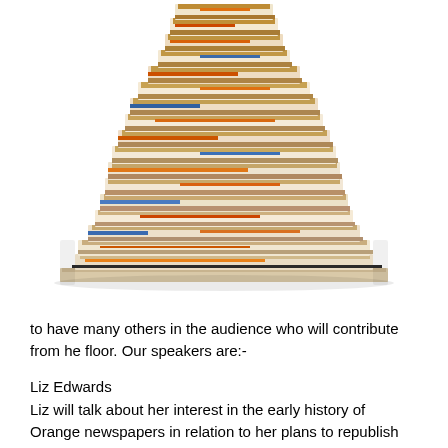[Figure (photo): A large tall stack of newspapers piled on top of each other, photographed against a white background. The newspapers are folded and stacked haphazardly, showing various colors including white, beige, orange, and blue.]
to have many others in the audience who will contribute from he floor. Our speakers are:-
Liz Edwards
Liz will talk about her interest in the early history of Orange newspapers in relation to her plans to republish journalist